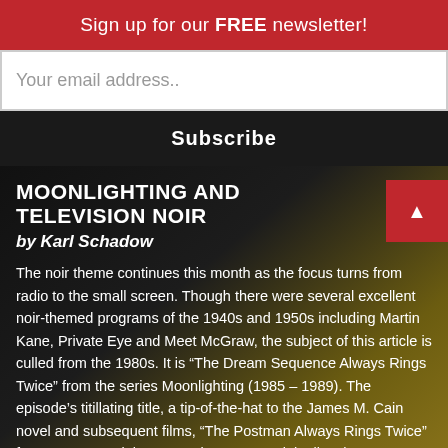Sign up for our FREE newsletter!
Your email address..
Subscribe
MOONLIGHTING AND TELEVISION NOIR
by Karl Schadow
The noir theme continues this month as the focus turns from radio to the small screen. Though there were several excellent noir-themed programs of the 1940s and 1950s including Martin Kane, Private Eye and Meet McGraw, the subject of this article is culled from the 1980s. It is “The Dream Sequence Always Rings Twice” from the series Moonlighting (1985 – 1989). The episode’s titillating title, a tip-of-the-hat to the James M. Cain novel and subsequent films, “The Postman Always Rings Twice” forecasts a special presentation. It was originally telecast October 15, 1985.